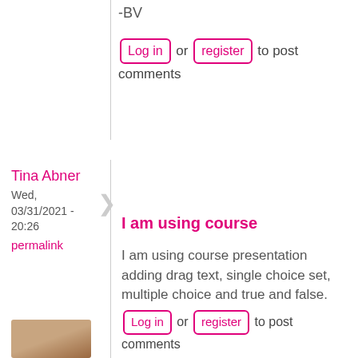-BV
Log in or register to post comments
Tina Abner
Wed, 03/31/2021 - 20:26
permalink
I am using course
I am using course presentation adding drag text, single choice set, multiple choice and true and false.
Log in or register to post comments